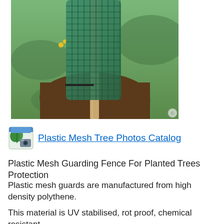[Figure (photo): A cylindrical green plastic mesh tree guard attached to a wooden stake, planted in dark soil/mulch with a grass lawn background and yellow dandelion flowers visible.]
Plastic Mesh Tree Photos Catalog
Plastic Mesh Guarding Fence For Planted Trees Protection
Plastic mesh guards are manufactured from high density polythene.
This material is UV stabilised, rot proof, chemical resistant and not susceptible to pest infestation or electrolytic attack.